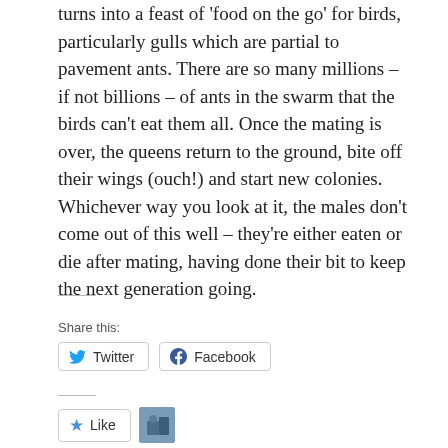turns into a feast of 'food on the go' for birds, particularly gulls which are partial to pavement ants. There are so many millions – if not billions – of ants in the swarm that the birds can't eat them all. Once the mating is over, the queens return to the ground, bite off their wings (ouch!) and start new colonies. Whichever way you look at it, the males don't come out of this well – they're either eaten or die after mating, having done their bit to keep the next generation going.
Share this:
Twitter  Facebook
Like
One blogger likes this.